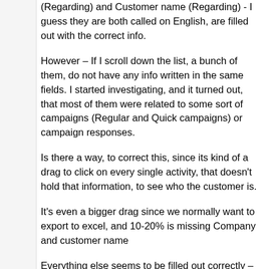(Regarding) and Customer name (Regarding) - I guess they are both called on English, are filled out with the correct info.
However – If I scroll down the list, a bunch of them, do not have any info written in the same fields. I started investigating, and it turned out, that most of them were related to some sort of campaigns (Regular and Quick campaigns) or campaign responses.
Is there a way, to correct this, since its kind of a drag to click on every single activity, that doesn't hold that information, to see who the customer is.
It's even a bigger drag since we normally want to export to excel, and 10-20% is missing Company and customer name
Everything else seems to be filled out correctly – Subject, Regarding, Owner etc etc.
Best Regards